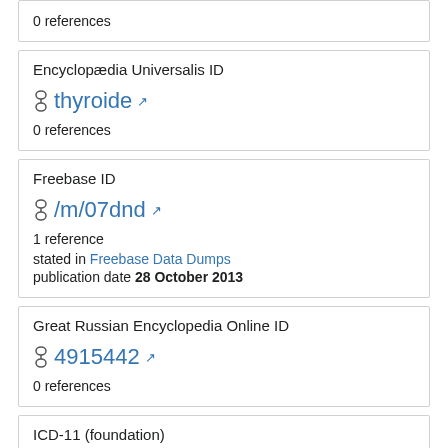0 references
Encyclopædia Universalis ID
thyroide
0 references
Freebase ID
/m/07dnd
1 reference
stated in Freebase Data Dumps
publication date 28 October 2013
Great Russian Encyclopedia Online ID
4915442
0 references
ICD-11 (foundation)